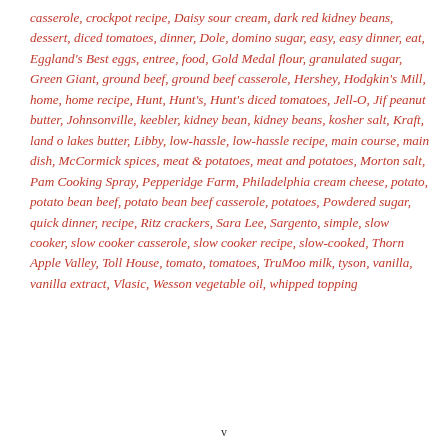casserole, crockpot recipe, Daisy sour cream, dark red kidney beans, dessert, diced tomatoes, dinner, Dole, domino sugar, easy, easy dinner, eat, Eggland's Best eggs, entree, food, Gold Medal flour, granulated sugar, Green Giant, ground beef, ground beef casserole, Hershey, Hodgkin's Mill, home, home recipe, Hunt, Hunt's, Hunt's diced tomatoes, Jell-O, Jif peanut butter, Johnsonville, keebler, kidney bean, kidney beans, kosher salt, Kraft, land o lakes butter, Libby, low-hassle, low-hassle recipe, main course, main dish, McCormick spices, meat & potatoes, meat and potatoes, Morton salt, Pam Cooking Spray, Pepperidge Farm, Philadelphia cream cheese, potato, potato bean beef, potato bean beef casserole, potatoes, Powdered sugar, quick dinner, recipe, Ritz crackers, Sara Lee, Sargento, simple, slow cooker, slow cooker casserole, slow cooker recipe, slow-cooked, Thorn Apple Valley, Toll House, tomato, tomatoes, TruMoo milk, tyson, vanilla, vanilla extract, Vlasic, Wesson vegetable oil, whipped topping
v